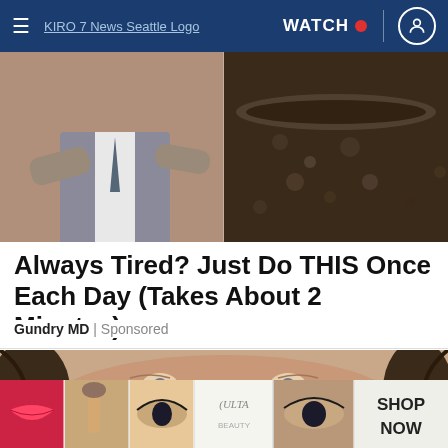KIRO 7 News Seattle Logo | WATCH
[Figure (photo): Advertisement image: person in suit on left side, dark gritty texture on right side]
Always Tired? Just Do THIS Once Each Day (Takes About 2 Minutes)
Gundry MD | Sponsored
[Figure (photo): Close-up face of an older man with weathered features, wild hair, and a slight smile. A dark close button (X) is overlaid in the lower-left. A bottom ad strip shows Ulta Beauty makeup images with a SHOP NOW button.]